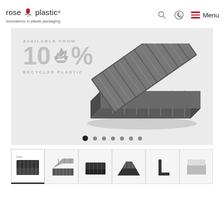[Figure (logo): Rose plastic logo with rose flower icon and registered trademark, tagline 'innovations in plastic packaging']
[Figure (infographic): Navigation icons: search magnifier, phone, and hamburger menu with 'Menu' text]
[Figure (photo): Banner showing a dark grey plastic packaging tray opened at an angle with text 'AVAILABLE FROM 100% RECYCLED PLASTIC' and recycling icon. Seven carousel dots at the bottom, first dot active.]
[Figure (photo): Six product thumbnail images showing various plastic trays and packaging products from rose plastic.]